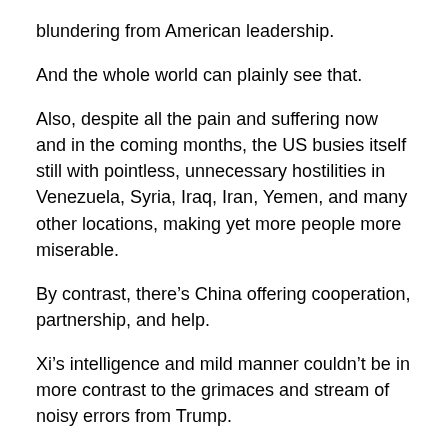blundering from American leadership.
And the whole world can plainly see that.
Also, despite all the pain and suffering now and in the coming months, the US busies itself still with pointless, unnecessary hostilities in Venezuela, Syria, Iraq, Iran, Yemen, and many other locations, making yet more people more miserable.
By contrast, there’s China offering cooperation, partnership, and help.
Xi’s intelligence and mild manner couldn’t be in more contrast to the grimaces and stream of noisy errors from Trump.
Putin very much also is making an effort abroad but